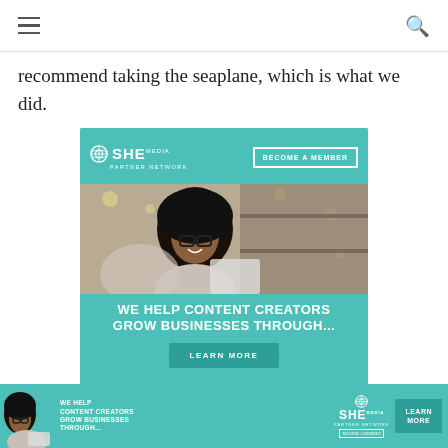Navigation bar with hamburger menu and search icon
recommend taking the seaplane, which is what we did.
[Figure (advertisement): SHE Media Partner Network advertisement with teal background, woman with glasses smiling, text 'WE HELP CONTENT CREATORS GROW BUSINESSES THROUGH...' and 'LEARN MORE' button, with 'BECOME A MEMBER' option]
[Figure (advertisement): SHE Media Partner Network bottom banner ad with teal background, woman with tablet, text 'WE HELP CONTENT CREATORS GROW BUSINESSES THROUGH...' and 'LEARN MORE' button]